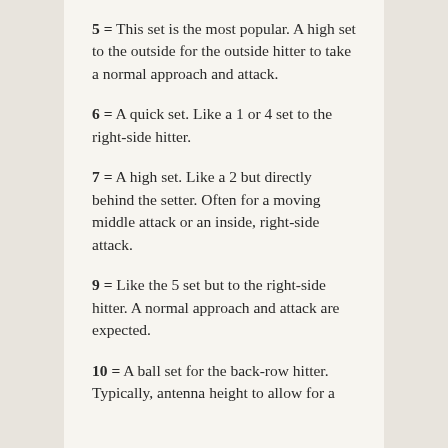5 = This set is the most popular. A high set to the outside for the outside hitter to take a normal approach and attack.
6 = A quick set. Like a 1 or 4 set to the right-side hitter.
7 = A high set. Like a 2 but directly behind the setter. Often for a moving middle attack or an inside, right-side attack.
9 = Like the 5 set but to the right-side hitter. A normal approach and attack are expected.
10 = A ball set for the back-row hitter. Typically, antenna height to allow for a